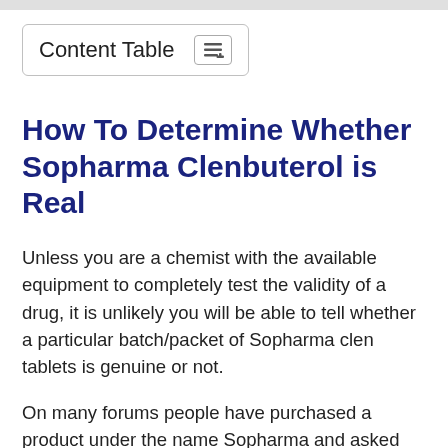Content Table
How To Determine Whether Sopharma Clenbuterol is Real
Unless you are a chemist with the available equipment to completely test the validity of a drug, it is unlikely you will be able to tell whether a particular batch/packet of Sopharma clen tablets is genuine or not.
On many forums people have purchased a product under the name Sopharma and asked the other forum members whether the photo they shared was legitimate or not.